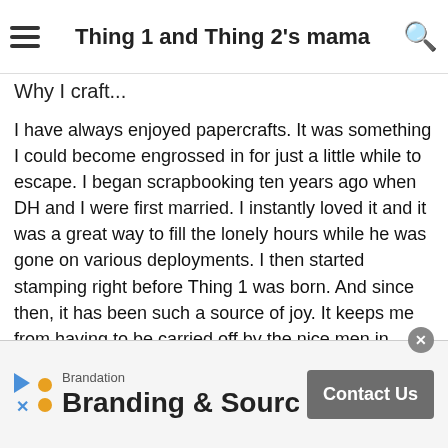Thing 1 and Thing 2's mama
projects; and
…what the biggest impact(s) of your projects has to on you, someone else, or the world at large!
Why I craft...
I have always enjoyed papercrafts. It was something I could become engrossed in for just a little while to escape. I began scrapbooking ten years ago when DH and I were first married. I instantly loved it and it was a great way to fill the lonely hours while he was gone on various deployments. I then started stamping right before Thing 1 was born. And since then, it has been such a source of joy. It keeps me from having to be carried off by the nice men in white lab coats. 😁 Raising two boys who live with autism and being married to a Marine makes life sometimes a bit overwhelming. Crafting relaxes and refocuses me. And I
Brandation
Branding & Sourcing
Contact Us